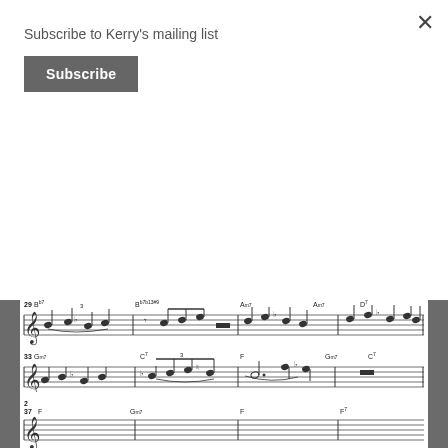Subscribe to Kerry's mailing list
Subscribe
[Figure (illustration): Sheet music notation showing measures 21-36 of a jazz/blues piece with chord symbols including Gm, C7, F, Gm7, C7, F7, Bb7, Bb7b13#9, Am7, D7, Gm7, across four staves]
[Figure (illustration): Partial sheet music showing beginning of measure 37 with chord symbols F, Gm7, F, F7]